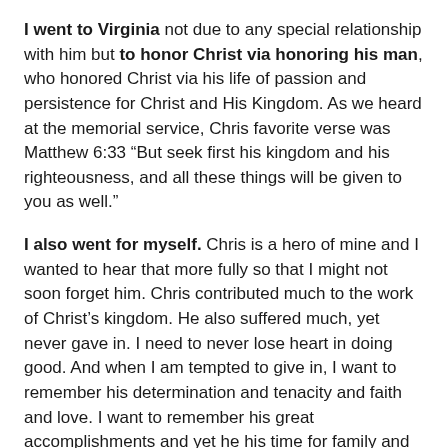I went to Virginia not due to any special relationship with him but to honor Christ via honoring his man, who honored Christ via his life of passion and persistence for Christ and His Kingdom.  As we heard at the memorial service, Chris favorite verse was Matthew 6:33 “But seek first his kingdom and his righteousness, and all these things will be given to you as well.”
I also went for myself. Chris is a hero of mine and I wanted to hear that more fully so that I might not soon forget him. Chris contributed much to the work of Christ’s kingdom. He also suffered much, yet never gave in. I need to never lose heart in doing good. And when I am tempted to give in, I want to remember his determination and tenacity and faith and love.  I want to remember his great accomplishments and yet he his time for family and friends and to enjoy life.
A reading of Chris’ life verse: Matthew 6:19-33, esp. verse 33: